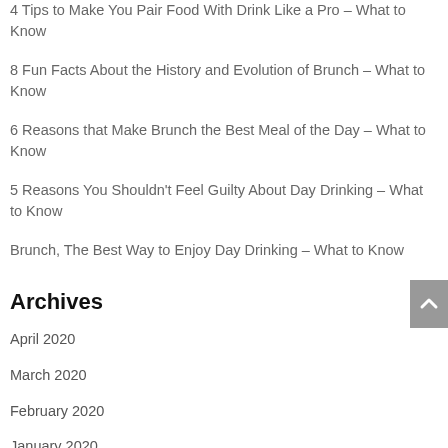4 Tips to Make You Pair Food With Drink Like a Pro – What to Know
8 Fun Facts About the History and Evolution of Brunch – What to Know
6 Reasons that Make Brunch the Best Meal of the Day – What to Know
5 Reasons You Shouldn't Feel Guilty About Day Drinking – What to Know
Brunch, The Best Way to Enjoy Day Drinking – What to Know
Archives
April 2020
March 2020
February 2020
January 2020
December 2019